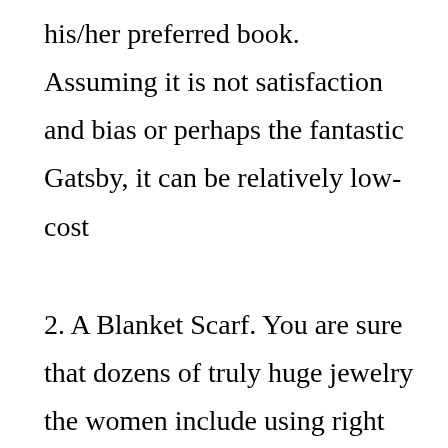his/her preferred book. Assuming it is not satisfaction and bias or perhaps the fantastic Gatsby, it can be relatively low-cost
2. A Blanket Scarf. You are sure that dozens of truly huge jewelry the women include using right now? I am aware you imagine they may be foolish. This will be a great surprise since it is private and she will wear it around their neck each and every day, but it isn't precious jewelry. This option from Madewell is perfect since it is a little different